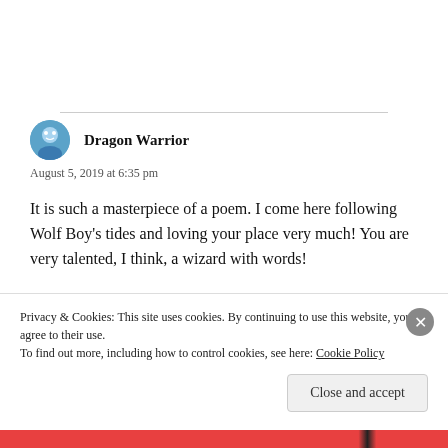Dragon Warrior
August 5, 2019 at 6:35 pm
It is such a masterpiece of a poem. I come here following Wolf Boy's tides and loving your place very much! You are very talented, I think, a wizard with words!
★ Like
Privacy & Cookies: This site uses cookies. By continuing to use this website, you agree to their use.
To find out more, including how to control cookies, see here: Cookie Policy
Close and accept